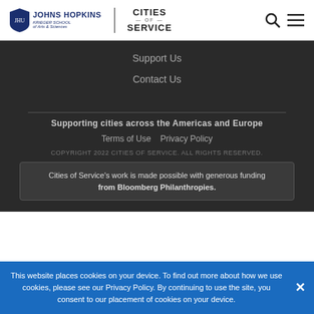[Figure (logo): Johns Hopkins Krieger School of Arts & Sciences logo with shield, and Cities of Service logo separated by vertical divider, with search and menu icons on right]
Support Us
Contact Us
Supporting cities across the Americas and Europe
Terms of Use    Privacy Policy
COPYRIGHT 2022 CITIES OF SERVICE. ALL RIGHTS RESERVED.
Cities of Service's work is made possible with generous funding from Bloomberg Philanthropies.
This website places cookies on your device. To find out more about how we use cookies, please see our Privacy Policy. By continuing to use the site, you consent to our placement of cookies on your device.